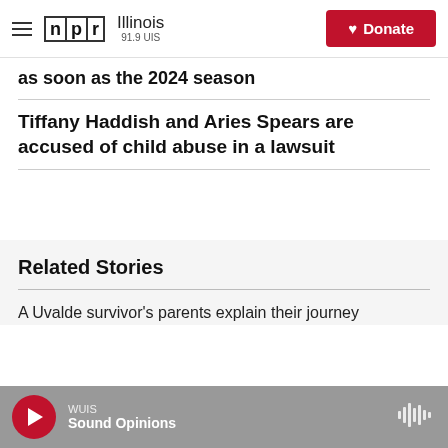NPR Illinois 91.9 UIS | Donate
as soon as the 2024 season
Tiffany Haddish and Aries Spears are accused of child abuse in a lawsuit
Related Stories
A Uvalde survivor's parents explain their journey
WUIS | Sound Opinions